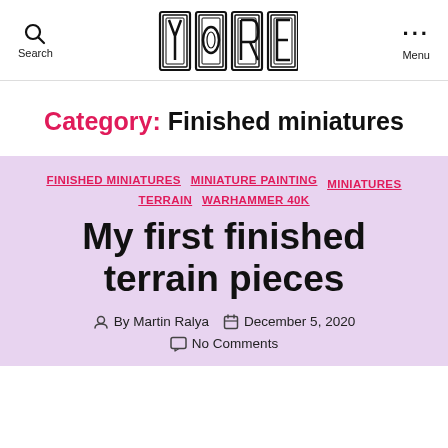Search | YORE | Menu
Category: Finished miniatures
FINISHED MINIATURES  MINIATURE PAINTING  MINIATURES  TERRAIN  WARHAMMER 40K
My first finished terrain pieces
By Martin Ralya  December 5, 2020  No Comments